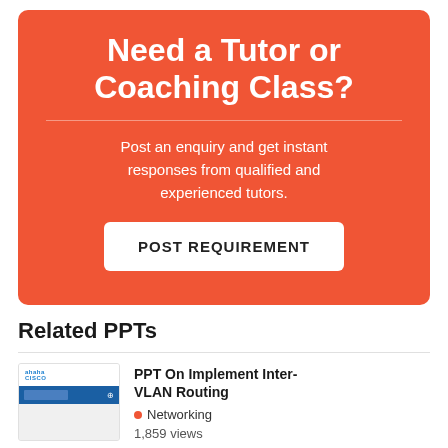Need a Tutor or Coaching Class?
Post an enquiry and get instant responses from qualified and experienced tutors.
POST REQUIREMENT
Related PPTs
PPT On Implement Inter-VLAN Routing
Networking
1,859 views